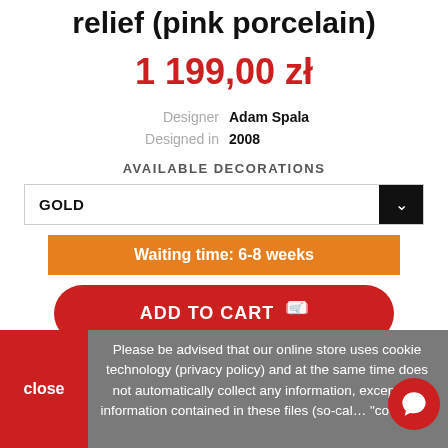relief (pink porcelain)
1 199,00 zł
| Label | Value |
| --- | --- |
| Designer | Adam Spala |
| Designed in | 2008 |
AVAILABLE DECORATIONS
GOLD
Waiting time: 6-8 weeks
ADD TO CART
Please be advised that our online store uses cookie technology (privacy policy) and at the same time does not automatically collect any information, except the information contained in these files (so-called "cookies").
close